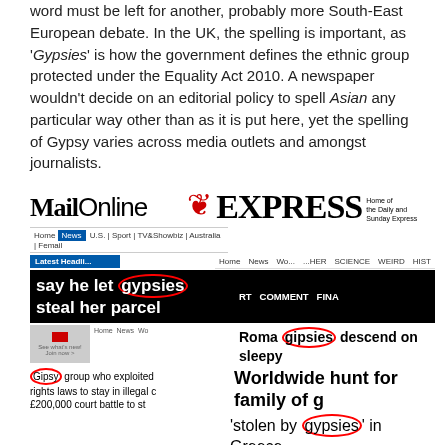word must be left for another, probably more South-East European debate. In the UK, the spelling is important, as 'Gypsies' is how the government defines the ethnic group protected under the Equality Act 2010. A newspaper wouldn't decide on an editorial policy to spell Asian any particular way other than as it is put here, yet the spelling of Gypsy varies across media outlets and amongst journalists.
[Figure (screenshot): Screenshot collage of Mail Online and Daily Express newspaper websites showing headlines with various spellings of 'gypsies'/'gipsies'/'Gipsy' circled in red: 'say he let gypsies steal her parcel', 'Roma gipsies descend on sleepy', 'Gipsy group who exploited rights laws to stay in illegal', 'Worldwide hunt for family of', 'stolen by gypsies in Greece', 'Gipsies who create a gipsy pitch']